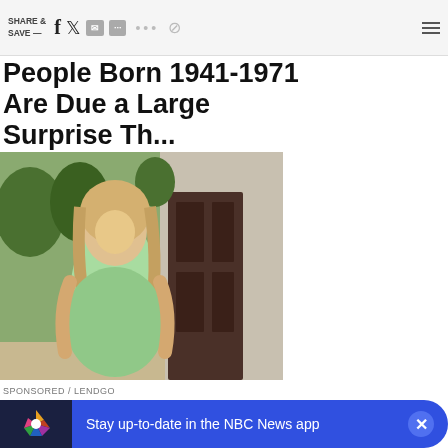SHARE & SAVE — [social icons]
People Born 1941-1971 Are Due a Large Surprise Th...
[Figure (photo): Woman with blonde wavy hair wearing a light green dress, standing in front of a dark door with greenery in background]
SPONSORED / LENDGO
Forget Borrowing Money If You Own A Home, Do Th...
If your home has risen in value, y...
Stay up-to-date in the NBC News app